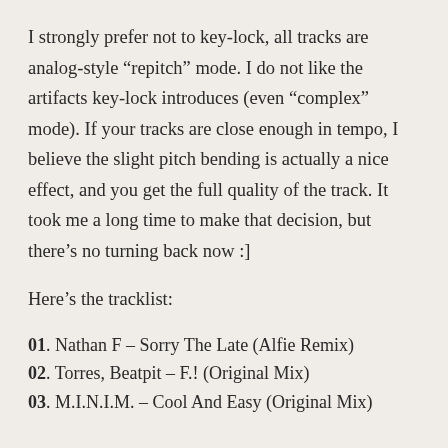I strongly prefer not to key-lock, all tracks are analog-style “repitch” mode. I do not like the artifacts key-lock introduces (even “complex” mode). If your tracks are close enough in tempo, I believe the slight pitch bending is actually a nice effect, and you get the full quality of the track. It took me a long time to make that decision, but there’s no turning back now :]
Here’s the tracklist:
01. Nathan F – Sorry The Late (Alfie Remix)
02. Torres, Beatpit – F.! (Original Mix)
03. M.I.N.I.M. – Cool And Easy (Original Mix)